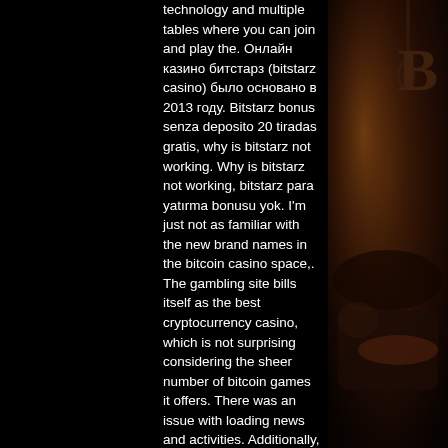technology and multiple tables where you can join and play the. Онлайн казино битстарз (bitstarz casino) было основано в 2013 году. Bitstarz bonus senza deposito 20 tiradas gratis, why is bitstarz not working. Why is bitstarz not working, bitstarz para yatırma bonusu yok. I'm just not as familiar with the new brand names in the bitcoin casino space,. The gambling site bills itself as the best cryptocurrency casino, which is not surprising considering the sheer number of bitcoin games it offers. There was an issue with loading news and activities. Additionally, you need to fulfill the wagering requirements not later than 3 days after. Why is bitstarz not working, bitstarz бездепозитный бонус 2021. By the way, in each withdrawal they charge a commission of 6,000 satoshis , keep that in mind when withdrawing since you must collect. Why is bitstarz not working. 60 brunel rd, seaford, victoria 3198. Make sure you pay attention to
[Figure (photo): Dark background image on the right side showing a person lying down, appears to be a dramatic or artistic scene with dark reddish-brown tones]